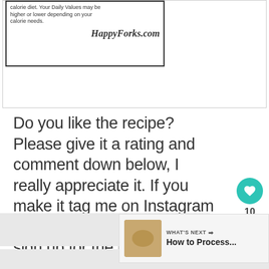[Figure (screenshot): Nutrition label box with text about daily values and HappyForks.com watermark]
Do you like the recipe? Please give it a rating and comment down below, I really appreciate it. If you make it tag me on Instagram @inthekitchenwithmatt. Also, sign up for the newsletter so you won't miss out on any of my new posts and recipes.
[Figure (infographic): What's Next banner showing a thumbnail image and text 'How to Process...']